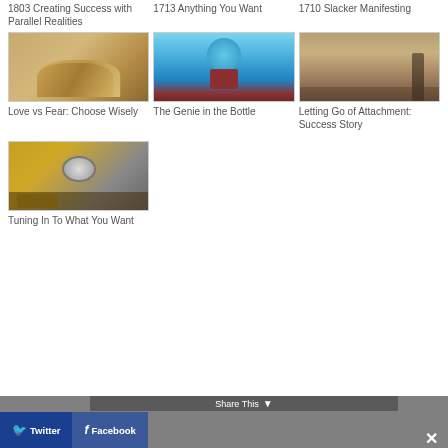1803 Creating Success with Parallel Realities
1713 Anything You Want
1710 Slacker Manifesting
[Figure (photo): Heart-shaped wooden pieces]
[Figure (photo): Blue genie cartoon figure on a box]
[Figure (photo): Silhouette of person on beach at sunset]
Love vs Fear: Choose Wisely
The Genie in the Bottle
Letting Go of Attachment: Success Story
[Figure (photo): Person holding a vintage radio/dial gauge]
Tuning In To What You Want
Share This  Twitter  Facebook  ✕